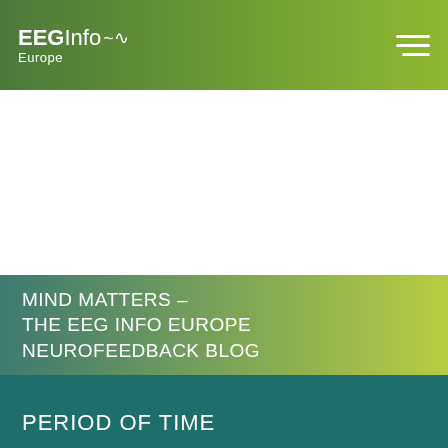EEGInfo Europe
MIND MATTERS – THE EEG INFO EUROPE NEUROFEEDBACK BLOG
PERIOD OF TIME